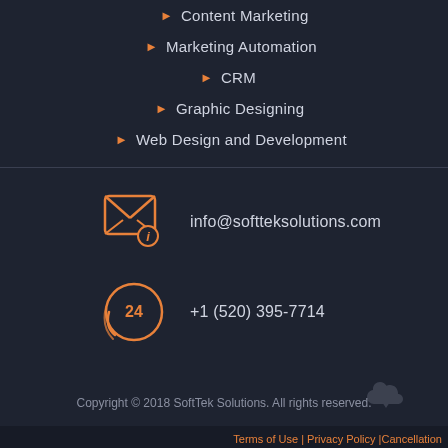Content Marketing
Marketing Automation
CRM
Graphic Designing
Web Design and Development
[Figure (illustration): Orange envelope with info icon — email contact icon]
info@softteksolutions.com
[Figure (illustration): Orange 24-hour phone icon — call contact icon]
+1 (520) 395-7714
Copyright © 2018 SoftTek Solutions. All rights reserved.
Terms of Use | Privacy Policy |Cancellation